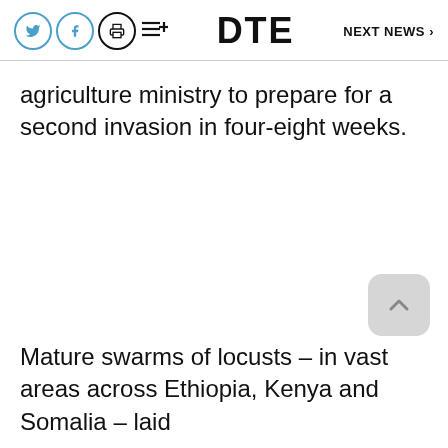DTE   NEXT NEWS >
agriculture ministry to prepare for a second invasion in four-eight weeks.
Mature swarms of locusts – in vast areas across Ethiopia, Kenya and Somalia – laid